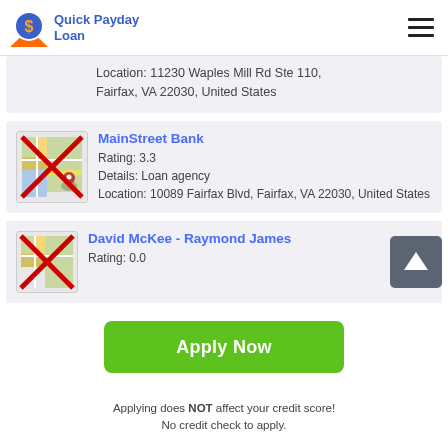Quick Payday Loan
Location: 11230 Waples Mill Rd Ste 110, Fairfax, VA 22030, United States
MainStreet Bank
Rating: 3.3
Details: Loan agency
Location: 10089 Fairfax Blvd, Fairfax, VA 22030, United States
David McKee - Raymond James
Rating: 0.0
Apply Now
Applying does NOT affect your credit score! No credit check to apply.